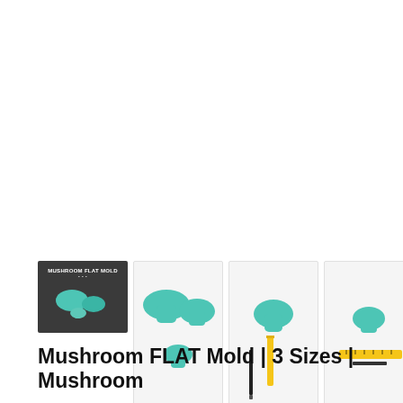[Figure (photo): Five product images of Mushroom FLAT Mold showing teal/turquoise silicone mushroom molds in 3 sizes. First image has dark background with text 'MUSHROOM FLAT MOLD'. Subsequent images show molds on white backgrounds with rulers and pens for scale.]
Mushroom FLAT Mold | 3 Sizes | Mushroom